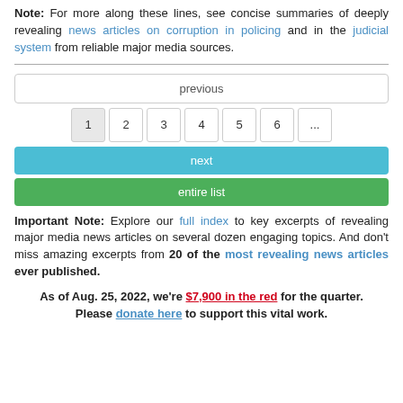Note: For more along these lines, see concise summaries of deeply revealing news articles on corruption in policing and in the judicial system from reliable major media sources.
previous | 1 | 2 | 3 | 4 | 5 | 6 | ... | next | entire list
Important Note: Explore our full index to key excerpts of revealing major media news articles on several dozen engaging topics. And don't miss amazing excerpts from 20 of the most revealing news articles ever published.
As of Aug. 25, 2022, we're $7,900 in the red for the quarter. Please donate here to support this vital work.